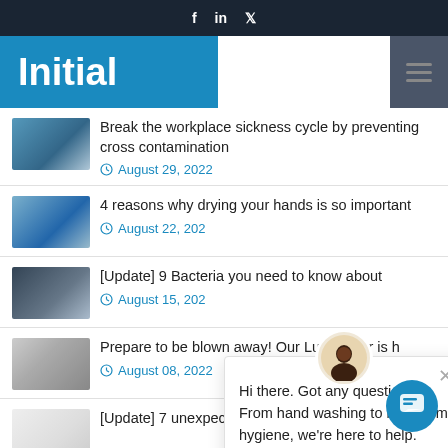Initial — social icons: f, in, twitter
[Figure (logo): Initial company logo — white bold text 'Initial' on blue background, with hamburger menu icon on dark right panel]
Break the workplace sickness cycle by preventing cross contamination
August 29, 2022
4 reasons why drying your hands is so important
August 22, 202[2]
[Update] 9 Bacteria you need to know about
August 15, 202[2]
Prepare to be blown away! Our Luna dryer is h[ere]
August 08, 2022
[Update] 7 unexpected places to find Initial medical [waste]
Hi there. Got any questions? From hand washing to bathroom hygiene, we're here to help.